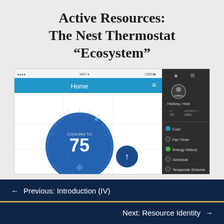Active Resources: The Nest Thermostat “Ecosystem”
[Figure (screenshot): Screenshot of Nest thermostat mobile app showing a home screen with a blue circular thermostat dial displaying temperature 75, an up arrow button, and a dark side panel with menu items including Hallway, Heat, Cool, Fan Timer, Energy History, Schedule, and Temperature Schema.]
← Previous: Introduction (IV)
Next: Resource Identity →